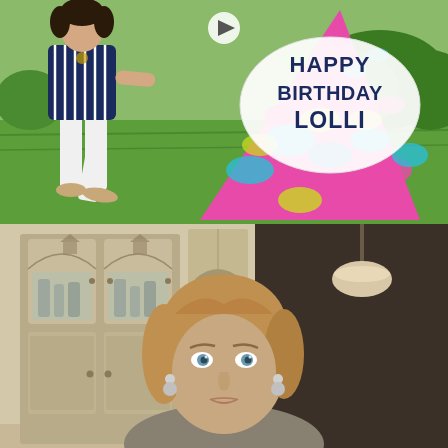[Figure (photo): Outdoor photo of a person in a navy striped top and white pants standing on green grass next to a large colorful painted sign that reads 'HAPPY BIRTHDAY LOLLI'. The sign has a white oval with dark navy hand-lettered text and a colorful abstract painted body in pink, blue, teal, yellow and green. A play button icon is visible in the upper center of the image.]
[Figure (photo): Indoor photo of a blonde woman with blue eyes looking directly at the camera, taken in a kitchen with cream/sage painted cabinets and glass-front doors in the background. She is wearing earrings and has medium-length hair.]